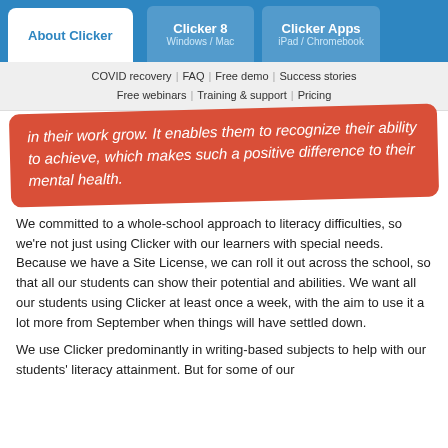About Clicker | Clicker 8 Windows / Mac | Clicker Apps iPad / Chromebook
COVID recovery | FAQ | Free demo | Success stories | Free webinars | Training & support | Pricing
in their work grow. It enables them to recognize their ability to achieve, which makes such a positive difference to their mental health.
We committed to a whole-school approach to literacy difficulties, so we're not just using Clicker with our learners with special needs. Because we have a Site License, we can roll it out across the school, so that all our students can show their potential and abilities. We want all our students using Clicker at least once a week, with the aim to use it a lot more from September when things will have settled down.
We use Clicker predominantly in writing-based subjects to help with our students' literacy attainment. But for some of our